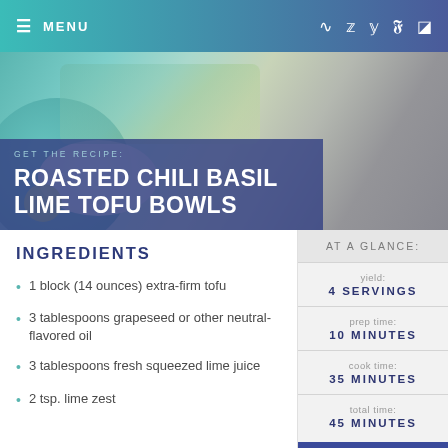≡ MENU
[Figure (photo): Food photography hero image showing a bowl of food with greens, overlaid with dark blue text box reading GET THE RECIPE: ROASTED CHILI BASIL LIME TOFU BOWLS]
ROASTED CHILI BASIL LIME TOFU BOWLS
INGREDIENTS
1 block (14 ounces) extra-firm tofu
3 tablespoons grapeseed or other neutral-flavored oil
3 tablespoons fresh squeezed lime juice
2 tsp. lime zest
| AT A GLANCE: |  |
| --- | --- |
| yield: | 4 SERVINGS |
| prep time: | 10 MINUTES |
| cook time: | 35 MINUTES |
| total time: | 45 MINUTES |